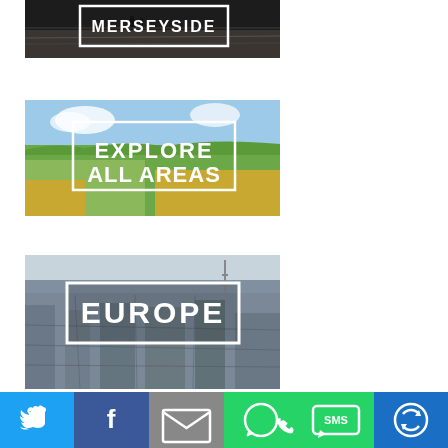[Figure (photo): Banner image with dark waterfront/riverside scene. White bold text 'MERSEYSIDE' in a white rectangle border overlay in the center.]
[Figure (photo): Banner image with green countryside/hillside aerial view. White bold text 'EXPLORE ALL AREAS' in a white rectangle border overlay in the center.]
[Figure (photo): Banner image with aerial city view (Paris/Europe). White bold text 'EUROPE' in a white rectangle border overlay in the center.]
[Figure (infographic): Social sharing bar at the bottom with 6 buttons: Twitter (blue bird icon), Facebook (dark blue f icon), Email (grey envelope icon), WhatsApp (green chat icon), SMS (green SMS icon), More (blue circle arrow icon).]